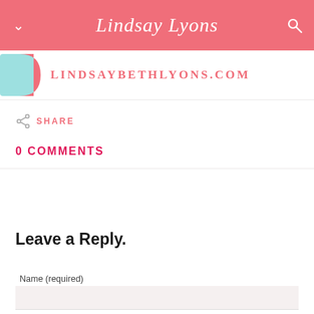Lindsay Lyons
[Figure (logo): Lindsay Beth Lyons website logo with teal and pink graphic and text LINDSAYBETHLYONS.COM]
SHARE
0 COMMENTS
Leave a Reply.
Name (required)